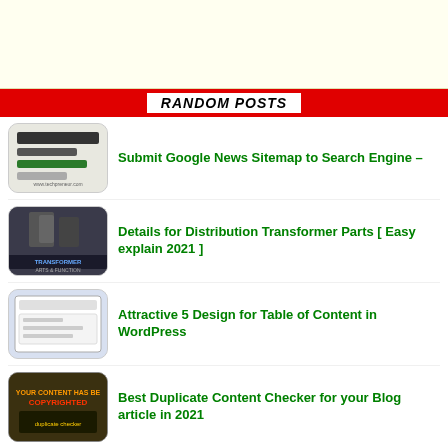[Figure (other): Advertisement banner area with light yellow background]
RANDOM POSTS
Submit Google News Sitemap to Search Engine –
Details for Distribution Transformer Parts [ Easy explain 2021 ]
Attractive 5 Design for Table of Content in WordPress
Best Duplicate Content Checker for your Blog article in 2021
[3 Way] Fix AdSense Ads.Txt Warning Your AdSense( Blogger or WP)